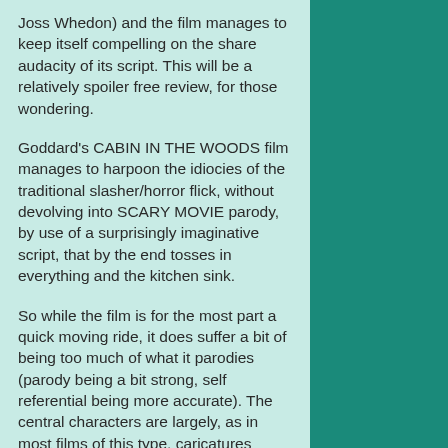Joss Whedon) and the film manages to keep itself compelling on the share audacity of its script. This will be a relatively spoiler free review, for those wondering.
Goddard's CABIN IN THE WOODS film manages to harpoon the idiocies of the traditional slasher/horror flick, without devolving into SCARY MOVIE parody, by use of a surprisingly imaginative script, that by the end tosses in everything and the kitchen sink.
So while the film is for the most part a quick moving ride, it does suffer a bit of being too much of what it parodies (parody being a bit strong, self referential being more accurate). The central characters are largely, as in most films of this type, caricatures rather than characters, so it's hard to get really too invested in them. And by the end, while visually dynamic, I am quite bored of the